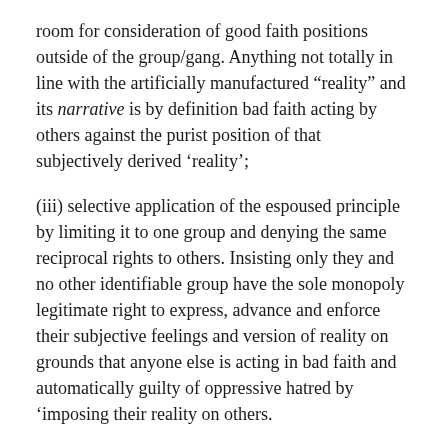room for consideration of good faith positions outside of the group/gang. Anything not totally in line with the artificially manufactured “reality” and its narrative is by definition bad faith acting by others against the purist position of that subjectively derived ‘reality’;
(iii) selective application of the espoused principle by limiting it to one group and denying the same reciprocal rights to others. Insisting only they and no other identifiable group have the sole monopoly legitimate right to express, advance and enforce their subjective feelings and version of reality on grounds that anyone else is acting in bad faith and automatically guilty of oppressive hatred by ‘imposing their reality on others.
A disingenuous and dishonest position and approach, employing a blatant double standard, on a number of